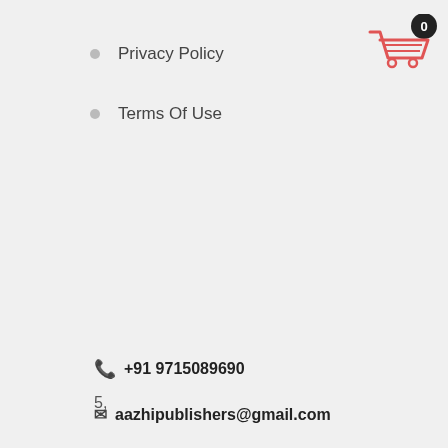Privacy Policy
Terms Of Use
5,
600093,
+91 9715089690
aazhipublishers@gmail.com